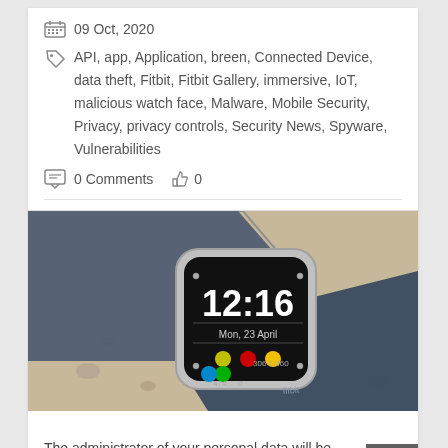09 Oct, 2020
API, app, Application, breen, Connected Device, data theft, Fitbit, Fitbit Gallery, immersive, IoT, malicious watch face, Malware, Mobile Security, Privacy, privacy controls, Security News, Spyware, Vulnerabilities
0 Comments  0
[Figure (photo): A Fitbit smartwatch with a black face showing time 12:16, Mon 23 April, and colorful app icons, lying on a sandy/pebbly surface with a blue/navy watch band.]
The administrator of your personal data will be Threatpost, Inc., 500 Unicorn Park, Woburn, MA 01801,